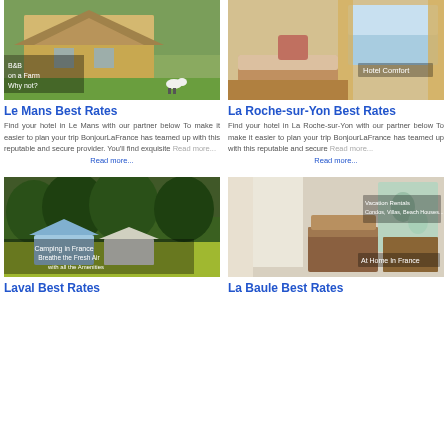[Figure (photo): Thatched farmhouse with sheep on lawn, text overlay: B&B on a Farm Why not?]
[Figure (photo): Hotel room with comfortable bed and ocean view window, text overlay: Hotel Comfort]
Le Mans Best Rates
La Roche-sur-Yon Best Rates
Find your hotel in Le Mans with our partner below To make it easier to plan your trip BonjourLaFrance has teamed up with this reputable and secure provider. You'll find exquisite
Read more...
Find your hotel in La Roche-sur-Yon with our partner below To make it easier to plan your trip BonjourLaFrance has teamed up with this reputable and secure
Read more...
[Figure (photo): Camping site in France with tents and caravans in green meadow, text overlay: Camping in France Breathe the Fresh Air with all the Amenities]
[Figure (photo): Vacation rental interior with modern decor, text overlay: Vacation Rentals Condos, Villas, Beach Houses... At Home In France]
Laval Best Rates
La Baule Best Rates